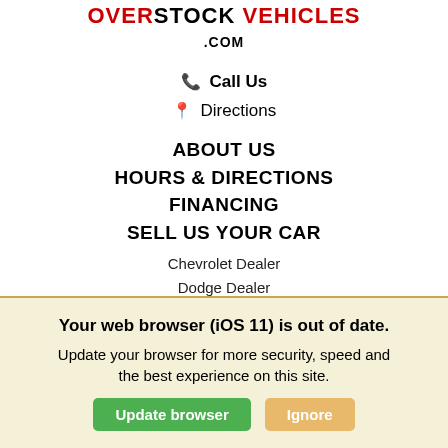OVERSTOCK VEHICLES .COM
📞 Call Us
📍 Directions
ABOUT US
HOURS & DIRECTIONS
FINANCING
SELL US YOUR CAR
Chevrolet Dealer
Dodge Dealer
Ford Dealer
Jeep Dealer
RAM Dealer
Your web browser (iOS 11) is out of date. Update your browser for more security, speed and the best experience on this site.
Update browser   Ignore